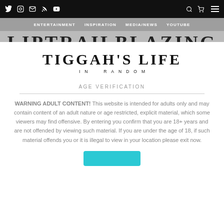Twitter Instagram Email RSS YouTube | Search Cart Menu
ENTERTAINMENT  INSPIRATION  MEDIA/NEWS  YOUTUBE
[Figure (other): Partial large serif text title partially visible behind gray nav bar]
TIGGAH'S LIFE IN RANDOM
AGE VERIFICATION
WARNING ADULT CONTENT! This website is intended for adults only and may contain content of an adult nature or age restricted, explicit material, which some viewers may find offensive. By entering you confirm that you are 18+ years and are not offended by viewing such material. If you are under the age of 18, if such material offends you or it is illegal to view in your location please exit now.